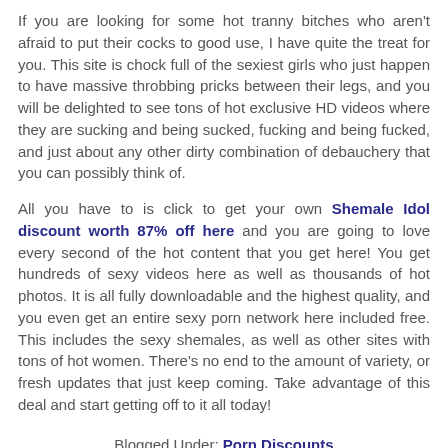If you are looking for some hot tranny bitches who aren't afraid to put their cocks to good use, I have quite the treat for you. This site is chock full of the sexiest girls who just happen to have massive throbbing pricks between their legs, and you will be delighted to see tons of hot exclusive HD videos where they are sucking and being sucked, fucking and being fucked, and just about any other dirty combination of debauchery that you can possibly think of.
All you have to is click to get your own Shemale Idol discount worth 87% off here and you are going to love every second of the hot content that you get here! You get hundreds of sexy videos here as well as thousands of hot photos. It is all fully downloadable and the highest quality, and you even get an entire sexy porn network here included free. This includes the sexy shemales, as well as other sites with tons of hot women. There's no end to the amount of variety, or fresh updates that just keep coming. Take advantage of this deal and start getting off to it all today!
Blogged Under: Porn Discounts
0 Comments | Write Comment